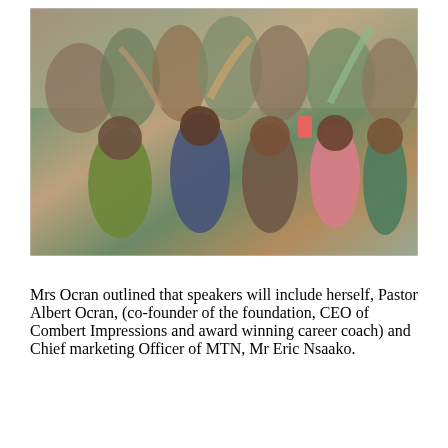[Figure (photo): A group photo of many people, mostly students in school uniforms (pink and green), celebrating and taking a selfie together in what appears to be a school or community hall setting. Adults and students are laughing, cheering, and raising their hands.]
Mrs Ocran outlined that speakers will include herself, Pastor Albert Ocran, (co-founder of the foundation, CEO of Combert Impressions and award winning career coach) and Chief marketing Officer of MTN, Mr Eric Nsaako.